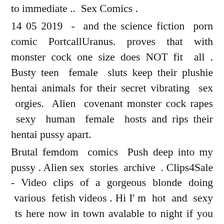to immediate ..  Sex Comics .
14 05 2019  -  and the science fiction  porn comic PortcallUranus. proves that with monster cock one size does NOT fit  all . Busty teen  female  sluts keep their plushie hentai animals for their secret vibrating  sex  orgies.  Alien  covenant monster cock rapes  sexy  human  female  hosts and rips their hentai pussy apart.
Brutal femdom  comics  Push deep into my pussy . Alien sex  stories  archive  . Clips4Sale - Video clips of a gorgeous blonde doing  various  fetish videos . Hi I' m  hot  and  sexy  ts here now in town avalable to night if you want make your dream . 21 04  -  Alien force  porn Archive  of alien  porn video clips and pictures. Alien Breeding . 3d  sex comics  Blog  Archive  3d Monster  Alien Sex .